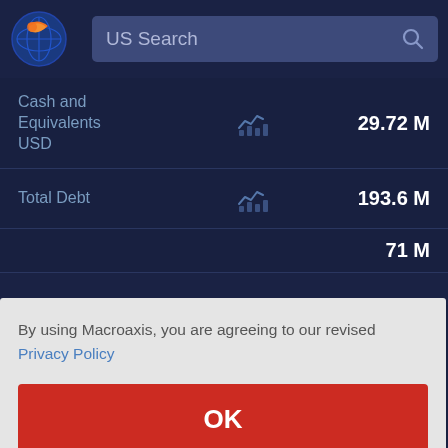[Figure (screenshot): Macroaxis website header with logo and US Search search bar]
| Metric |  | Value |
| --- | --- | --- |
| Cash and Equivalents USD |  | 29.72 M |
| Total Debt |  | 193.6 M |
71 M
09 M
8.6 M
93 M
By using Macroaxis, you are agreeing to our revised Privacy Policy
OK